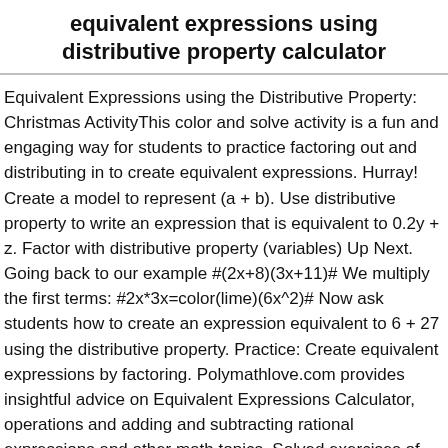equivalent expressions using distributive property calculator
Equivalent Expressions using the Distributive Property: Christmas ActivityThis color and solve activity is a fun and engaging way for students to practice factoring out and distributing in to create equivalent expressions. Hurray! Create a model to represent (a + b). Use distributive property to write an expression that is equivalent to 0.2y + z. Factor with distributive property (variables) Up Next. Going back to our example #(2x+8)(3x+11)# We multiply the first terms: #2x*3x=color(lime)(6x^2)# Now ask students how to create an expression equivalent to 6 + 27 using the distributive property. Practice: Create equivalent expressions by factoring. Polymathlove.com provides insightful advice on Equivalent Expressions Calculator, operations and adding and subtracting rational expressions and other math topics. Solved exercises of Equivalent expressions. Students will recognize that some